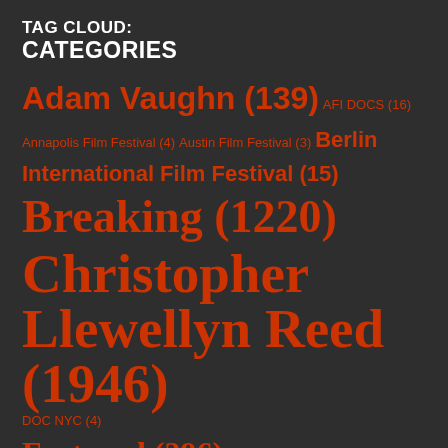TAG CLOUD: CATEGORIES
Adam Vaughn (139)
AFI DOCS (16)
Annapolis Film Festival (4)
Austin Film Festival (3)
Berlin International Film Festival (15)
Breaking (1220)
Christopher Llewellyn Reed (1946)
DOC NYC (4)
Featured (296)
Featured Specialty